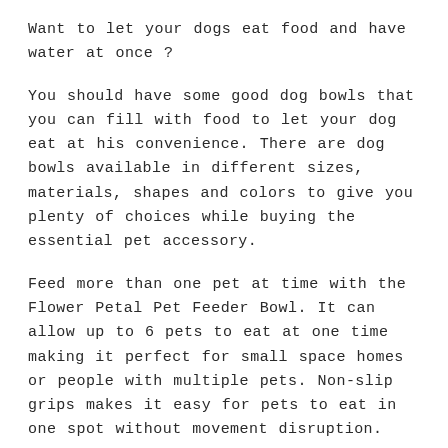Want to let your dogs eat food and have water at once ?
You should have some good dog bowls that you can fill with food to let your dog eat at his convenience. There are dog bowls available in different sizes, materials, shapes and colors to give you plenty of choices while buying the essential pet accessory.
Feed more than one pet at time with the Flower Petal Pet Feeder Bowl. It can allow up to 6 pets to eat at one time making it perfect for small space homes or people with multiple pets. Non-slip grips makes it easy for pets to eat in one spot without movement disruption.
Features: